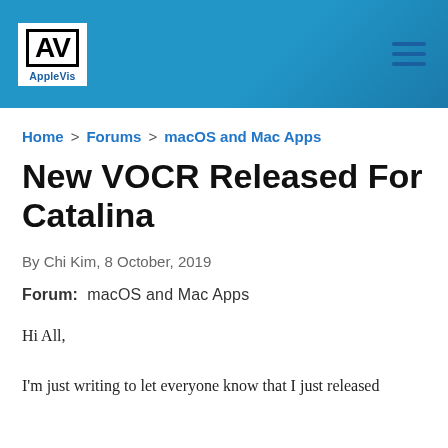AppleVis
Home > Forums > macOS and Mac Apps
New VOCR Released For Catalina
By Chi Kim, 8 October, 2019
Forum:  macOS and Mac Apps
Hi All,

I'm just writing to let everyone know that I just released